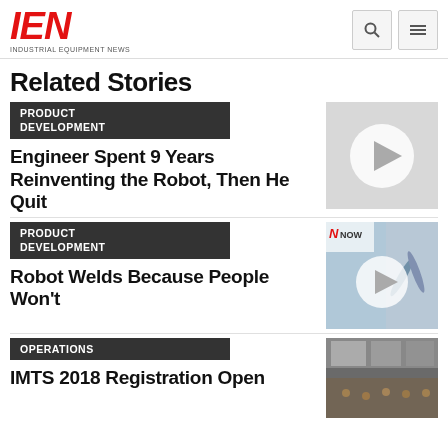IEN INDUSTRIAL EQUIPMENT NEWS
Related Stories
PRODUCT DEVELOPMENT
Engineer Spent 9 Years Reinventing the Robot, Then He Quit
[Figure (photo): Video thumbnail with play button for robot story]
PRODUCT DEVELOPMENT
Robot Welds Because People Won't
[Figure (photo): Video thumbnail with play button and robotic arm, NNOW branding]
OPERATIONS
IMTS 2018 Registration Open
[Figure (photo): Photo of crowded trade show floor at IMTS 2018]